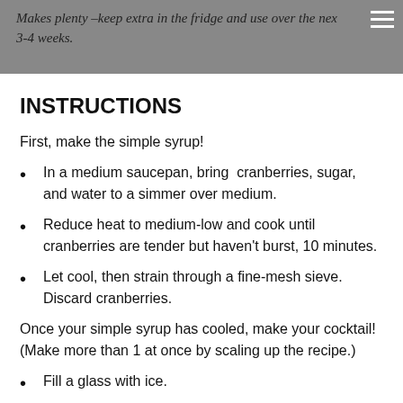Makes plenty –keep extra in the fridge and use over the next 3-4 weeks.
INSTRUCTIONS
First, make the simple syrup!
In a medium saucepan, bring  cranberries, sugar, and water to a simmer over medium.
Reduce heat to medium-low and cook until cranberries are tender but haven't burst, 10 minutes.
Let cool, then strain through a fine-mesh sieve. Discard cranberries.
Once your simple syrup has cooled, make your cocktail! (Make more than 1 at once by scaling up the recipe.)
Fill a glass with ice.